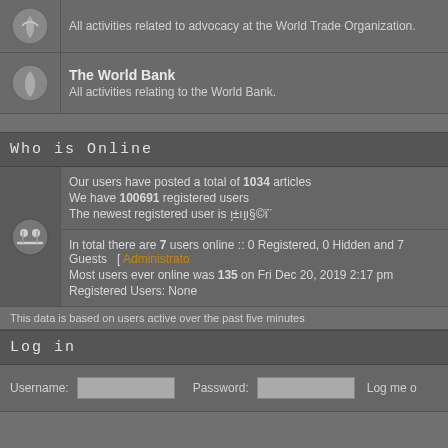All activities related to advocacy at the World Trade Organization.
The World Bank
All activities relating to the World Bank.
Who is Online
Our users have posted a total of 1034 articles
We have 100691 registered users
The newest registered user is ı̦±ıı̧ı§©ï¨
In total there are 7 users online :: 0 Registered, 0 Hidden and 7 Guests   [ Administrators
Most users ever online was 135 on Fri Dec 20, 2019 2:17 pm
Registered Users: None
This data is based on users active over the past five minutes
Log in
Username:  Password:  Log me o
[Figure (illustration): Legend bar showing New posts (orange bell icon) and No new posts (grey bell icon)]
Powered by phpBB © 2001,2005 phpBB
AndGrey102 Theme was created by DEVPR
Images were made by DEVPR Rights